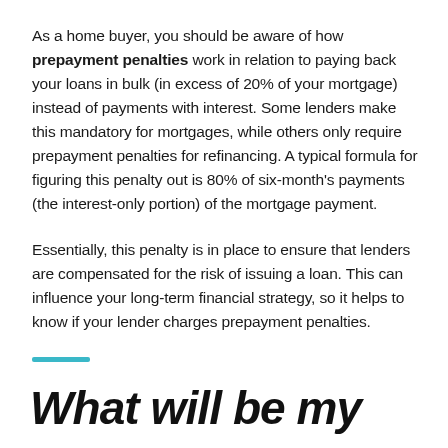As a home buyer, you should be aware of how prepayment penalties work in relation to paying back your loans in bulk (in excess of 20% of your mortgage) instead of payments with interest. Some lenders make this mandatory for mortgages, while others only require prepayment penalties for refinancing. A typical formula for figuring this penalty out is 80% of six-month's payments (the interest-only portion) of the mortgage payment.
Essentially, this penalty is in place to ensure that lenders are compensated for the risk of issuing a loan. This can influence your long-term financial strategy, so it helps to know if your lender charges prepayment penalties.
What will be my